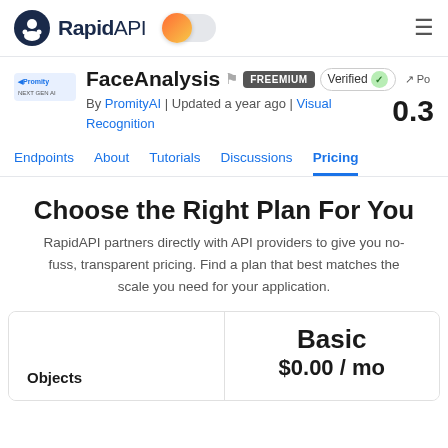RapidAPI
FaceAnalysis FREEMIUM Verified
By PromityAI | Updated a year ago | Visual Recognition   0.3
Endpoints  About  Tutorials  Discussions  Pricing
Choose the Right Plan For You
RapidAPI partners directly with API providers to give you no-fuss, transparent pricing. Find a plan that best matches the scale you need for your application.
|  | Basic |
| --- | --- |
| Objects | $0.00 / mo |